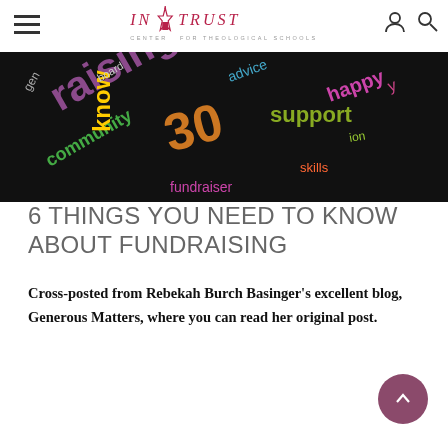IN TRUST CENTER FOR THEOLOGICAL SCHOOLS
[Figure (illustration): Word cloud on black background with words related to fundraising: raising, know, support, happy, community, board, advice, fundraiser, etc. in various colors (purple, orange, green, pink, yellow)]
6 THINGS YOU NEED TO KNOW ABOUT FUNDRAISING
Cross-posted from Rebekah Burch Basinger's excellent blog, Generous Matters, where you can read her original post.